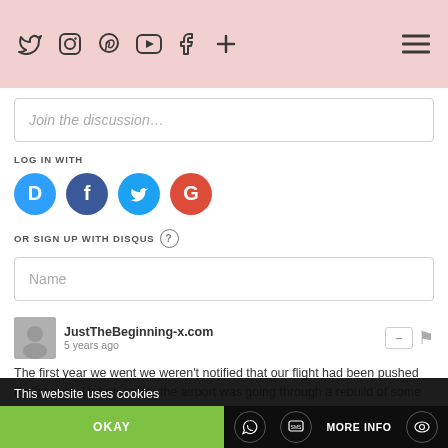Twitter Instagram Pinterest YouTube Facebook + [menu]
Join the discussion…
LOG IN WITH
[Figure (infographic): Social login icons: Disqus (blue), Facebook (dark blue), Twitter (light blue), Google (red)]
OR SIGN UP WITH DISQUS ?
Name
JustTheBeginning-x.com
5 years ago
The first year we went we weren't notified that our flight had been pushed back hours. Unfortunately the airport was going through a rebuild of some sorts so no food shops, no normal
This website uses cookies
OKAY
MORE INFO